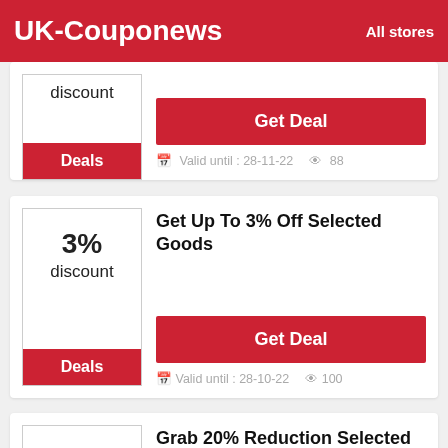UK-Couponews  All stores
discount
Deals
Valid until : 28-11-22  88
Get Deal
Get Up To 3% Off Selected Goods
3% discount
Deals
Get Deal
Valid until : 28-10-22  100
Grab 20% Reduction Selected Items
20% discount
Get Deal